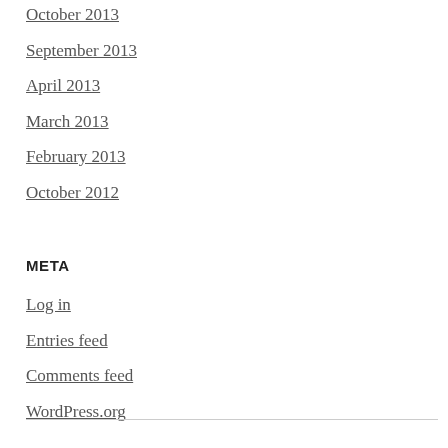October 2013
September 2013
April 2013
March 2013
February 2013
October 2012
META
Log in
Entries feed
Comments feed
WordPress.org